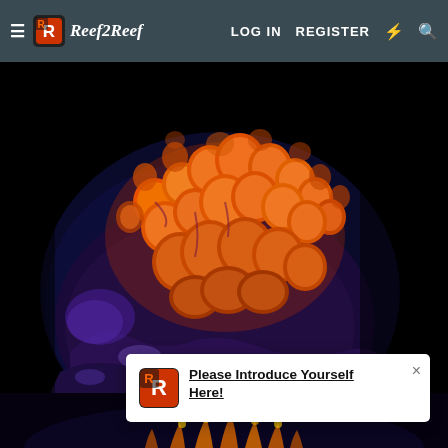Reef2Reef LOG IN REGISTER
[Figure (photo): Close-up macro photograph of orange and purple coral on a dark black background, showing bright orange polyps with glowing purple-blue coloration underneath, likely under UV/actinic lighting.]
[Figure (photo): Bottom strip of a second coral photo showing orange and yellow coral polyps on a dark background.]
Please Introduce Yourself Here!